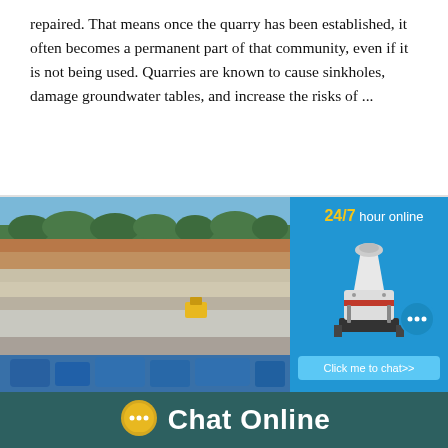repaired. That means once the quarry has been established, it often becomes a permanent part of that community, even if it is not being used. Quarries are known to cause sinkholes, damage groundwater tables, and increase the risks of ...
[Figure (photo): Aerial/ground-level photograph of an open quarry with exposed rock face, machinery (yellow), blue equipment in foreground, and trees along the top ridge. Blue sky visible.]
[Figure (infographic): Advertisement panel with blue background showing '24/7 hour online' text in yellow and white, an image of an industrial cone crusher machine, a circular chat bubble icon, and a 'Click me to chat>>' button.]
Chat Online